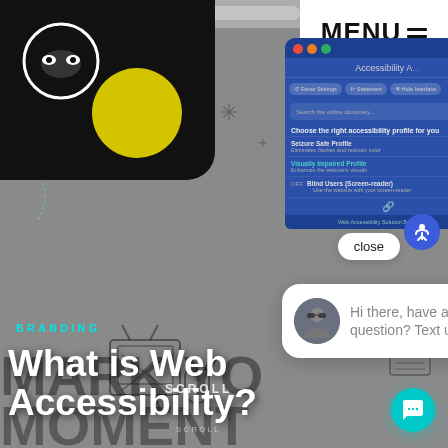[Figure (screenshot): Web accessibility marketing image showing a website with an accessibility widget panel open (blue panel with 'Accessibility A...' title, Reset Settings, Statement, Hide Interface buttons, search bar, accessibility profile options including Seizure Safe Profile and Visually Impaired Profile), a chat bubble saying 'Hi there, have a question? Text us here.', a close button, an accessibility floating button, and a teal chat CTA button. Background shows illustrated/sketched website with robot icon, yellow circle, TV sketch, mouse sketch, and SCROLL text. Top-right white corner shows MENU with hamburger icon lines.]
BRANDING
What is Web Accessibility?
MENU
Accessibility A...
Reset Settings
Statement
Hide Interface
Search the online dictionary...
Choose the right accessibility profile for you
Seizure Safe Profile
Eliminates flashes and reduces color
Visually Impaired Profile
Enhances the website's visuals
Blind Users (Screen-reader)
Use the website with your screen-reader
Web Accessibility Solution By accessible
close
Hi there, have a question? Text us here.
SCROLL